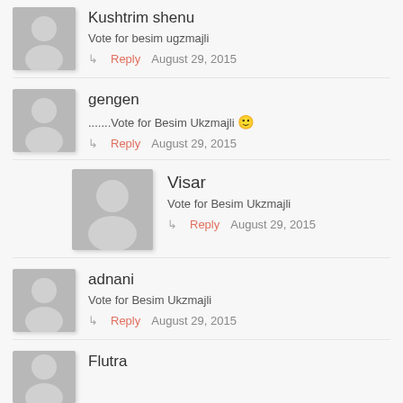Kushtrim shenu
Vote for besim ugzmajli
Reply  August 29, 2015
gengen
.......Vote for Besim Ukzmajli 🙂
Reply  August 29, 2015
Visar
Vote for Besim Ukzmajli
Reply  August 29, 2015
adnani
Vote for Besim Ukzmajli
Reply  August 29, 2015
Flutra